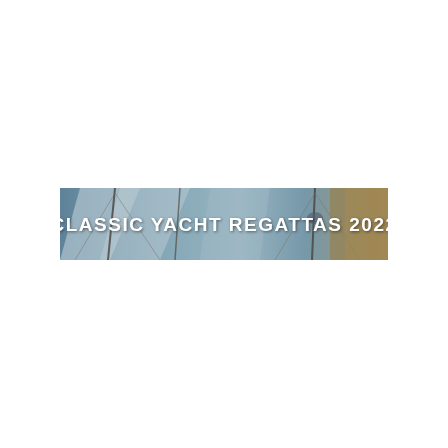[Figure (photo): A wide banner image showing classic yacht masts, rigging, sails, and wooden deck elements against a bright sky, with the text 'CLASSIC YACHT REGATTAS 2022' overlaid in white lettering across the center.]